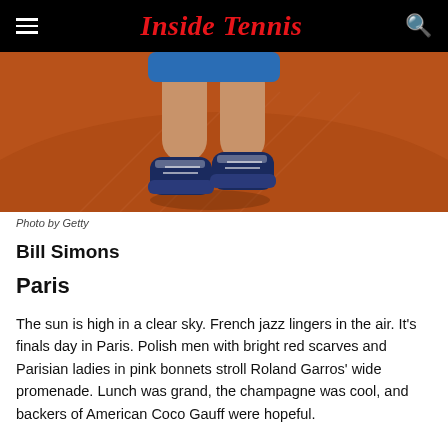Inside Tennis
[Figure (photo): Close-up of a tennis player's legs running on a clay court (Roland Garros), wearing blue tennis shoes/sneakers. The orange-red clay court surface is visible.]
Photo by Getty
Bill Simons
Paris
The sun is high in a clear sky. French jazz lingers in the air. It's finals day in Paris. Polish men with bright red scarves and Parisian ladies in pink bonnets stroll Roland Garros' wide promenade. Lunch was grand, the champagne was cool, and backers of American Coco Gauff were hopeful.